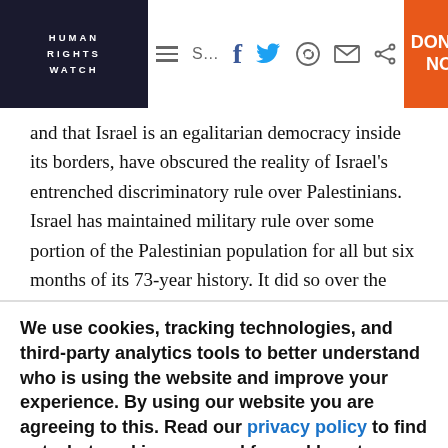HUMAN RIGHTS WATCH | navigation icons | DONATE NOW
and that Israel is an egalitarian democracy inside its borders, have obscured the reality of Israel's entrenched discriminatory rule over Palestinians. Israel has maintained military rule over some portion of the Palestinian population for all but six months of its 73-year history. It did so over the vast majority of Palestinians inside Israel from 1948 and until 1966. From 1967 until the present, it has militarily ruled over
We use cookies, tracking technologies, and third-party analytics tools to better understand who is using the website and improve your experience. By using our website you are agreeing to this. Read our privacy policy to find out what cookies are used for and how to change your settings.
Accept | Other options